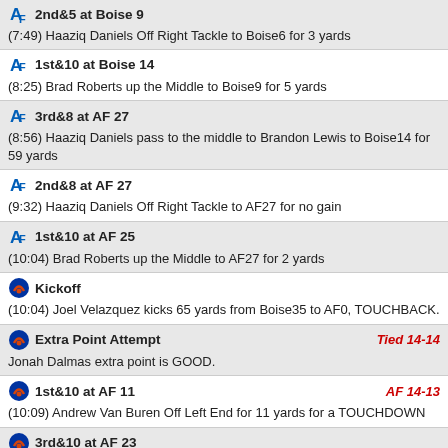2nd&5 at Boise 9 — (7:49) Haaziq Daniels Off Right Tackle to Boise6 for 3 yards
1st&10 at Boise 14 — (8:25) Brad Roberts up the Middle to Boise9 for 5 yards
3rd&8 at AF 27 — (8:56) Haaziq Daniels pass to the middle to Brandon Lewis to Boise14 for 59 yards
2nd&8 at AF 27 — (9:32) Haaziq Daniels Off Right Tackle to AF27 for no gain
1st&10 at AF 25 — (10:04) Brad Roberts up the Middle to AF27 for 2 yards
Kickoff — (10:04) Joel Velazquez kicks 65 yards from Boise35 to AF0, TOUCHBACK.
Extra Point Attempt — Tied 14-14 — Jonah Dalmas extra point is GOOD.
1st&10 at AF 11 — AF 14-13 — (10:09) Andrew Van Buren Off Left End for 11 yards for a TOUCHDOWN
3rd&10 at AF 23 — (10:37) Hank Bachmeier pass to the right to Khalil Shakir to AF11 for 12 yards
2nd&10 at AF 23 — (10:43) Hank Bachmeier incomplete pass to the right intended for Andrew Van